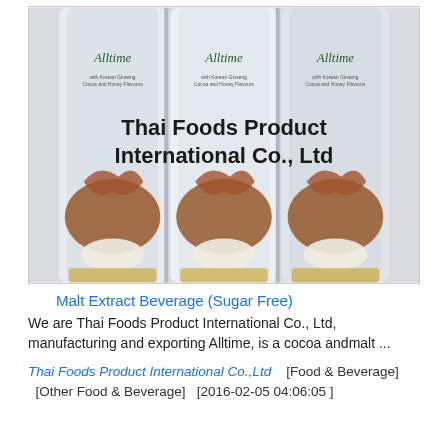[Figure (photo): Three white tube-shaped product packets labeled 'Alltime' side by side, with the text 'Thai Foods Product International Co., Ltd' printed in bold black on them, and brown cocoa/coffee swirl imagery on the lower portion.]
Malt Extract Beverage (Sugar Free)
We are Thai Foods Product International Co., Ltd, manufacturing and exporting Alltime, is a cocoa andmalt ...
Thai Foods Product International Co.,Ltd    [Food & Beverage]   [Other Food & Beverage]   [2016-02-05 04:06:05 ]